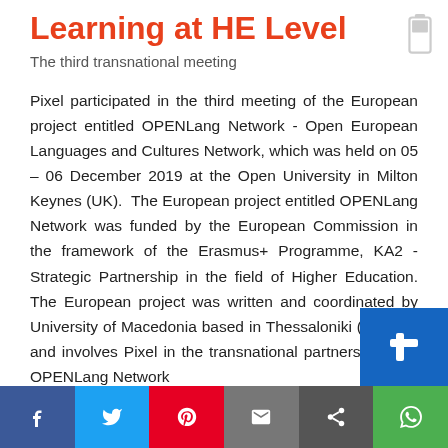Learning at HE Level
The third transnational meeting
Pixel participated in the third meeting of the European project entitled OPENLang Network - Open European Languages and Cultures Network, which was held on 05 – 06 December 2019 at the Open University in Milton Keynes (UK).  The European project entitled OPENLang Network was funded by the European Commission in the framework of the Erasmus+ Programme, KA2 - Strategic Partnership in the field of Higher Education. The European project was written and coordinated by University of Macedonia based in Thessaloniki (Greece) and involves Pixel in the transnational partnership. The OPENLang Network